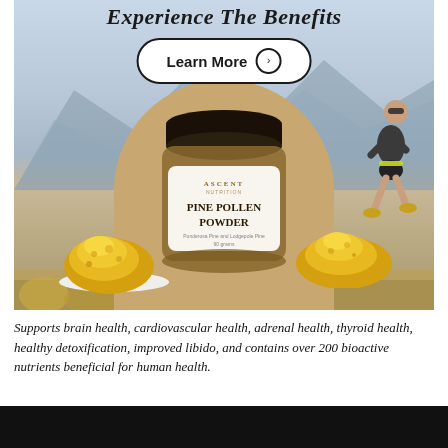Experience The Benefits
Learn More
[Figure (photo): Advertisement for Ascent Nutrition Pine Pollen Powder. Shows a jar of pine pollen powder with a white label, surrounded by piles of golden-yellow pollen powder on a plate. Background shows a mountain landscape with a man running on a trail on the right side. A large beige arch shape frames the product. Title reads 'Experience The Benefits' with a 'Learn More' button.]
Supports brain health, cardiovascular health, adrenal health, thyroid health, healthy detoxification, improved libido, and contains over 200 bioactive nutrients beneficial for human health.